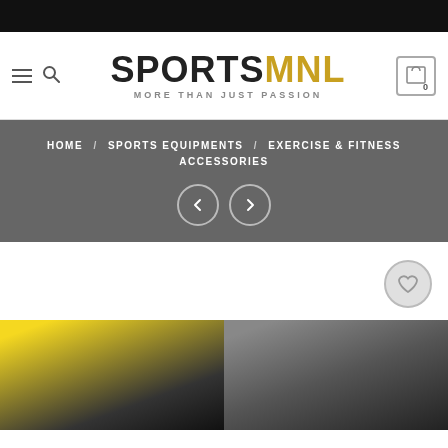[Figure (screenshot): Black top bar of website header]
SPORTSMNL – MORE THAN JUST PASSION
HOME / SPORTS EQUIPMENTS / EXERCISE & FITNESS ACCESSORIES
[Figure (illustration): Navigation arrows (left and right chevrons) in circular buttons]
[Figure (illustration): Wishlist heart icon button (circular, grey outline)]
[Figure (photo): Product images at bottom of page – yellow/black item on left, dark item on right]